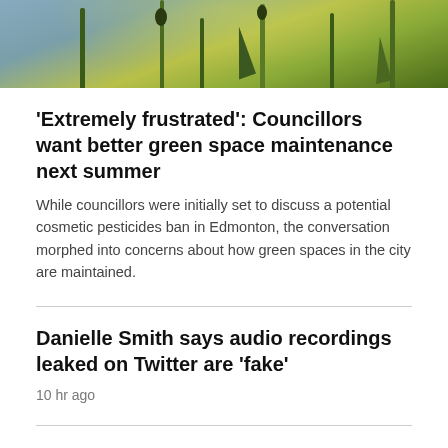[Figure (photo): Close-up photo of green plant stems and yellow flowers against a blue-grey sky background]
'Extremely frustrated': Councillors want better green space maintenance next summer
While councillors were initially set to discuss a potential cosmetic pesticides ban in Edmonton, the conversation morphed into concerns about how green spaces in the city are maintained.
Danielle Smith says audio recordings leaked on Twitter are 'fake'
10 hr ago
UPDATED | On eve of Ukraine's national day, fears Russia will pounce
21 min ago